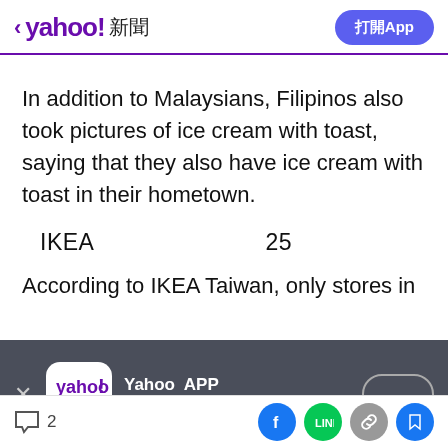< yahoo! 新聞  打開App
In addition to Malaysians, Filipinos also took pictures of ice cream with toast, saying that they also have ice cream with toast in their hometown.
IKEA                      25
According to IKEA Taiwan, only stores in
[Figure (screenshot): Yahoo APP install banner with Yahoo logo icon, text 'Yahoo APP / APP', close button, and an open button oval]
2  [Facebook] [LINE] [link] [bookmark]